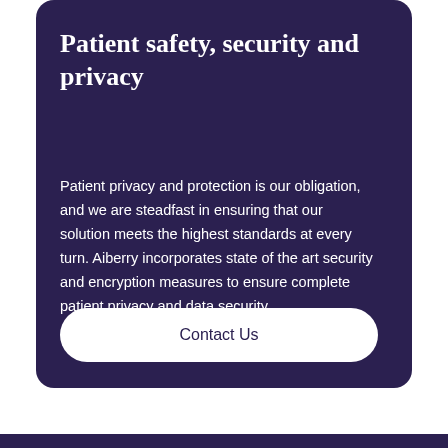Patient safety, security and privacy
Patient privacy and protection is our obligation, and we are steadfast in ensuring that our solution meets the highest standards at every turn. Aiberry incorporates state of the art security and encryption measures to ensure complete patient privacy and data security.
Contact Us